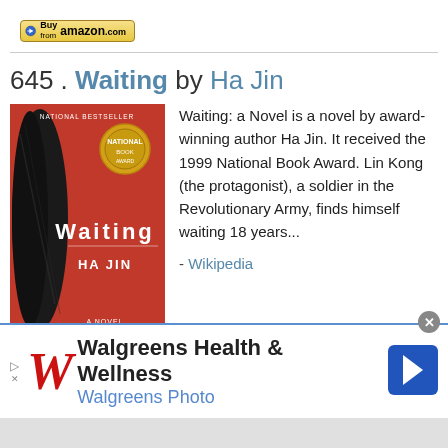[Figure (logo): Buy from amazon.com button at top]
645 . Waiting by Ha Jin
[Figure (photo): Book cover of 'Waiting' by Ha Jin - red cover with woman's braid]
[Figure (logo): Buy from amazon.com button below book cover]
Waiting: a Novel is a novel by award-winning author Ha Jin. It received the 1999 National Book Award. Lin Kong (the protagonist), a soldier in the Revolutionary Army, finds himself waiting 18 years...
- Wikipedia
I've read this book   I want to read this book
[Figure (infographic): Walgreens Health & Wellness / Walgreens Photo advertisement banner]